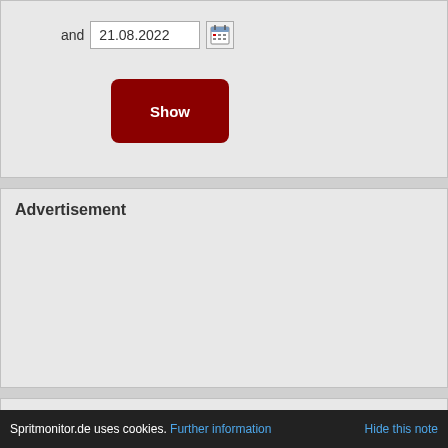and 21.08.2022
Show
Advertisement
Consumption histogram
Spritmonitor.de uses cookies. Further information Hide this note